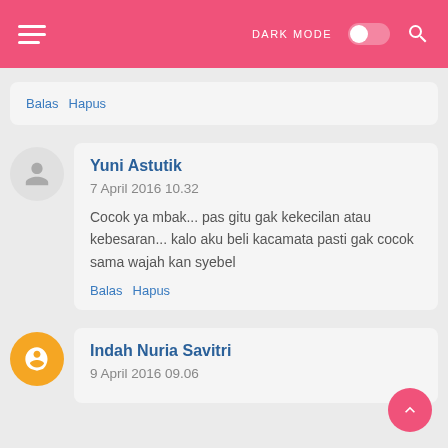DARK MODE [toggle] [search]
Balas  Hapus
Yuni Astutik
7 April 2016 10.32
Cocok ya mbak... pas gitu gak kekecilan atau kebesaran... kalo aku beli kacamata pasti gak cocok sama wajah kan syebel
Balas  Hapus
Indah Nuria Savitri
9 April 2016 09.06